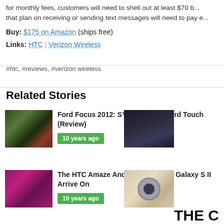for monthly fees, customers will need to shell out at least $70 b... that plan on receiving or sending text messages will need to pay e...
Buy: $175 on Amazon (ships free)
Links: HTC | Verizon Wireless
#htc, #reviews, #verizon wireless
Related Stories
[Figure (photo): Rear view of a dark blue car (Ford Focus 2012)]
Ford Focus 2012: SYNC With MyFord Touch (Review)
10 years ago
[Figure (photo): Tablet device with app icons on screen]
[Figure (photo): Two HTC smartphones on pink/magenta background]
The HTC Amaze And The Samsung Galaxy S II Arrive On
10 years ago
[Figure (photo): White security camera on wooden surface]
THE C